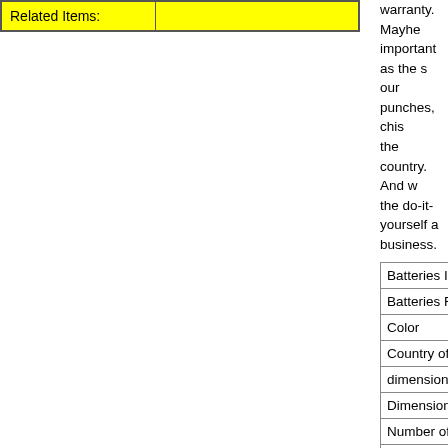| Related Items: |  |
| --- | --- |
| Related Items: |  |
warranty. Mayhe important as the s our punches, chis the country. And w the do-it-yourself a business.
| Attribute |
| --- |
| Batteries Included |
| Batteries Required |
| Color |
| Country of Origin |
| dimensions |
| Dimensions |
| Number of Handle |
| Power Source |
| Size |
| Style |
| Warranty |
Alternate Product Mayhew Select 35
35002 3 IN. BRIC B004RIDNEG